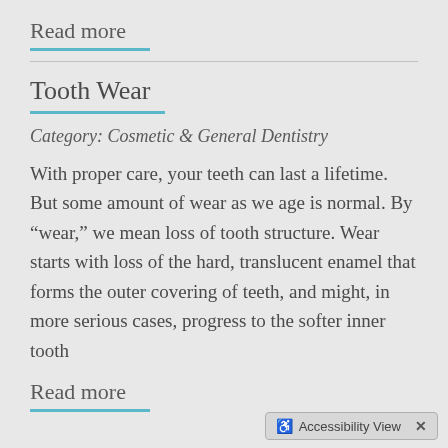Read more
Tooth Wear
Category: Cosmetic & General Dentistry
With proper care, your teeth can last a lifetime. But some amount of wear as we age is normal. By “wear,” we mean loss of tooth structure. Wear starts with loss of the hard, translucent enamel that forms the outer covering of teeth, and might, in more serious cases, progress to the softer inner tooth
Read more